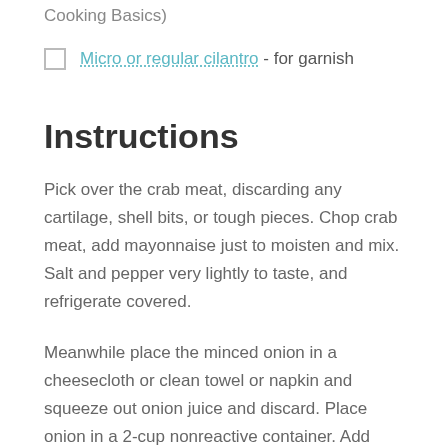Cooking Basics)
Micro or regular cilantro - for garnish
Instructions
Pick over the crab meat, discarding any cartilage, shell bits, or tough pieces. Chop crab meat, add mayonnaise just to moisten and mix. Salt and pepper very lightly to taste, and refrigerate covered.
Meanwhile place the minced onion in a cheesecloth or clean towel or napkin and squeeze out onion juice and discard. Place onion in a 2-cup nonreactive container. Add coconut milk, 3 tablespoons of the rice wine vinegar, and season to taste with salt and pepper. Using a hand-held immersion blender